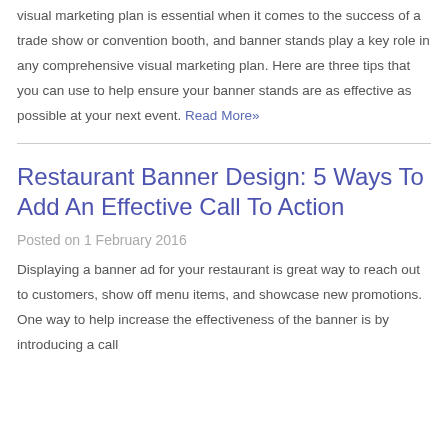company's products and services. Having an effective visual marketing plan is essential when it comes to the success of a trade show or convention booth, and banner stands play a key role in any comprehensive visual marketing plan. Here are three tips that you can use to help ensure your banner stands are as effective as possible at your next event. Read More»
Restaurant Banner Design: 5 Ways To Add An Effective Call To Action
Posted on 1 February 2016
Displaying a banner ad for your restaurant is great way to reach out to customers, show off menu items, and showcase new promotions. One way to help increase the effectiveness of the banner is by introducing a call